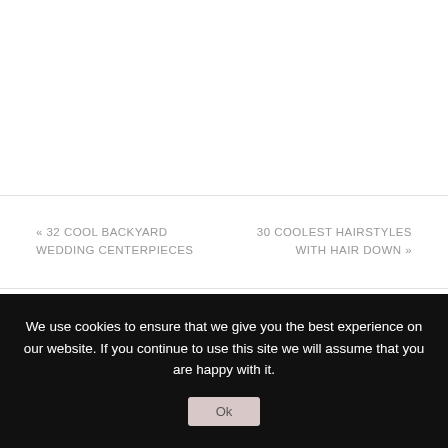« 32 COOL BACKYARD WEDDING CENTERPIECES
30 COOLEST HAIRSTYLES WITH HAIR DOWN »
Leave A Comment
We use cookies to ensure that we give you the best experience on our website. If you continue to use this site we will assume that you are happy with it.